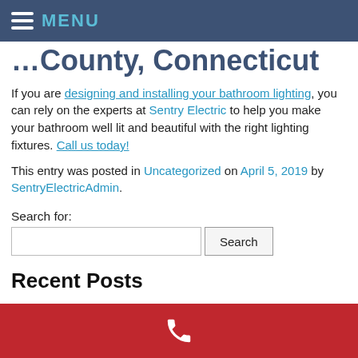MENU
…County, Connecticut
If you are designing and installing your bathroom lighting, you can rely on the experts at Sentry Electric to help you make your bathroom well lit and beautiful with the right lighting fixtures. Call us today!
This entry was posted in Uncategorized on April 5, 2019 by SentryElectricAdmin.
Search for:
Recent Posts
Electrical Inspections in Greenwich, CT; Ground Fault Circuit Interrupters, Safe Power & Light, Code Violations & More
Phone contact bar